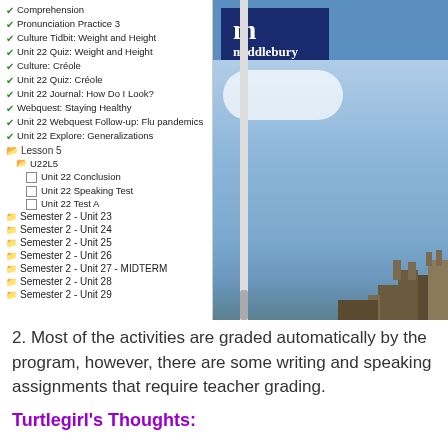[Figure (screenshot): Screenshot of Middlebury Interactive Languages learning management system showing a course navigation panel on the left with checklist items and lesson folders, and a Middlebury logo with a scenic castle/sky photo on the right.]
Pronunciation Practice 3
Culture Tidbit: Weight and Height
Unit 22 Quiz: Weight and Height
Culture: Créole
Unit 22 Quiz: Créole
Unit 22 Journal: How Do I Look?
Webquest: Staying Healthy
Unit 22 Webquest Follow-up: Flu pandemics
Unit 22 Explore: Generalizations
Lesson 5
U22L5
Unit 22 Conclusion
Unit 22 Speaking Test
Unit 22 Test A
Semester 2 - Unit 23
Semester 2 - Unit 24
Semester 2 - Unit 25
Semester 2 - Unit 26
Semester 2 - Unit 27 - MIDTERM
Semester 2 - Unit 28
Semester 2 - Unit 29
2. Most of the activities are graded automatically by the program, however, there are some writing and speaking assignments that require teacher grading.
Turtlegirl's Thoughts: